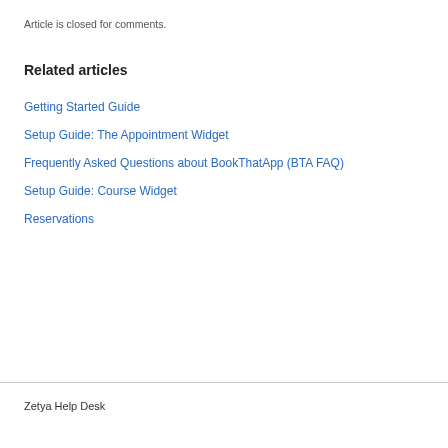Article is closed for comments.
Related articles
Getting Started Guide
Setup Guide: The Appointment Widget
Frequently Asked Questions about BookThatApp (BTA FAQ)
Setup Guide: Course Widget
Reservations
Zetya Help Desk